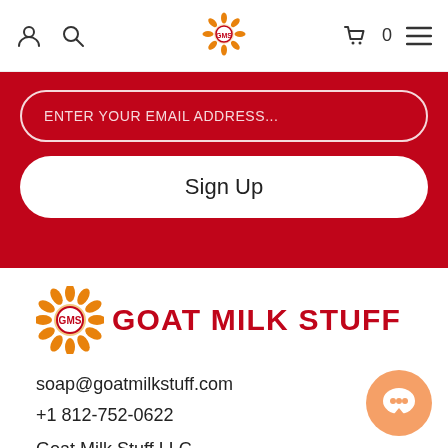Navigation bar with user icon, search icon, GMS logo, cart (0), menu
ENTER YOUR EMAIL ADDRESS...
Sign Up
[Figure (logo): Goat Milk Stuff sunflower logo with GMS monogram and brand name GOAT MILK STUFF in red bold text]
soap@goatmilkstuff.com
+1 812-752-0622
Goat Milk Stuff LLC
76 S Lake Road N
Scottsburg, IN 47170